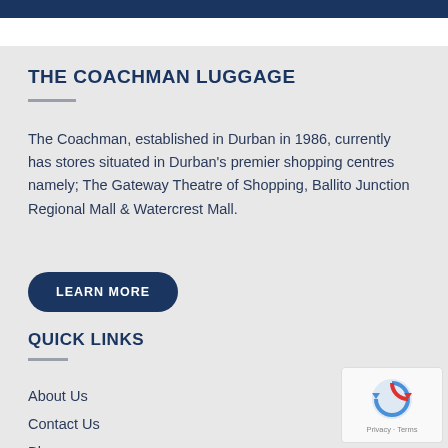THE COACHMAN LUGGAGE
The Coachman, established in Durban in 1986, currently has stores situated in Durban's premier shopping centres namely; The Gateway Theatre of Shopping, Ballito Junction Regional Mall & Watercrest Mall.
LEARN MORE
QUICK LINKS
About Us
Contact Us
Blog